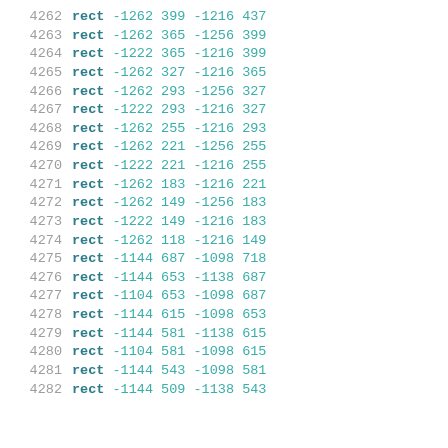4262  rect -1262 399 -1216 437
4263  rect -1262 365 -1256 399
4264  rect -1222 365 -1216 399
4265  rect -1262 327 -1216 365
4266  rect -1262 293 -1256 327
4267  rect -1222 293 -1216 327
4268  rect -1262 255 -1216 293
4269  rect -1262 221 -1256 255
4270  rect -1222 221 -1216 255
4271  rect -1262 183 -1216 221
4272  rect -1262 149 -1256 183
4273  rect -1222 149 -1216 183
4274  rect -1262 118 -1216 149
4275  rect -1144 687 -1098 718
4276  rect -1144 653 -1138 687
4277  rect -1104 653 -1098 687
4278  rect -1144 615 -1098 653
4279  rect -1144 581 -1138 615
4280  rect -1104 581 -1098 615
4281  rect -1144 543 -1098 581
4282  rect -1144 509 -1138 543